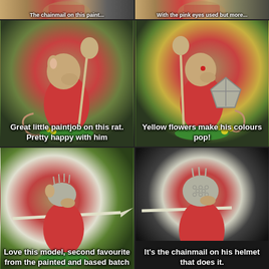[Figure (photo): Top partial strip showing painted miniature rat figures, cropped at top]
[Figure (photo): Top partial strip right side showing painted miniature rat figure]
[Figure (photo): Painted Skaven rat miniature with red cloak and staff on green base, bokeh background]
[Figure (photo): Painted Skaven rat miniature with shield and red cloak, yellow flowers on green base]
[Figure (photo): Painted Skaven rat miniature with spear and spiked helmet, red cloak on green base]
[Figure (photo): Close-up of painted Skaven rat miniature with chainmail helmet, red cloak, dark background]